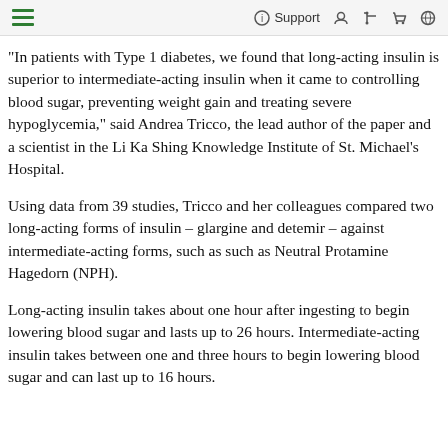Menu | Support
"In patients with Type 1 diabetes, we found that long-acting insulin is superior to intermediate-acting insulin when it came to controlling blood sugar, preventing weight gain and treating severe hypoglycemia," said Andrea Tricco, the lead author of the paper and a scientist in the Li Ka Shing Knowledge Institute of St. Michael's Hospital.
Using data from 39 studies, Tricco and her colleagues compared two long-acting forms of insulin – glargine and detemir – against intermediate-acting forms, such as such as Neutral Protamine Hagedorn (NPH).
Long-acting insulin takes about one hour after ingesting to begin lowering blood sugar and lasts up to 26 hours. Intermediate-acting insulin takes between one and three hours to begin lowering blood sugar and can last up to 16 hours.